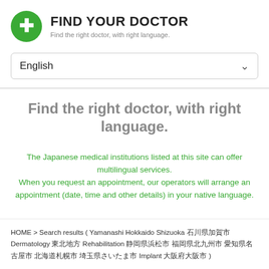FIND YOUR DOCTOR
Find the right doctor, with right language.
English
Find the right doctor, with right language.
The Japanese medical institutions listed at this site can offer multilingual services.
When you request an appointment, our operators will arrange an appointment (date, time and other details) in your native language.
HOME > Search results ( Yamanashi Hokkaido Shizuoka 石川県加賀市 Dermatology 東北地方 Rehabilitation 静岡県浜松市 福岡県北九州市 愛知県名古屋市 北海道札幌市 埼玉県さいたま市 Implant 大阪府大阪市 )